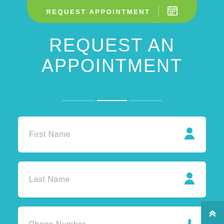REQUEST APPOINTMENT
REQUEST AN APPOINTMENT
First Name
Last Name
Phone Number